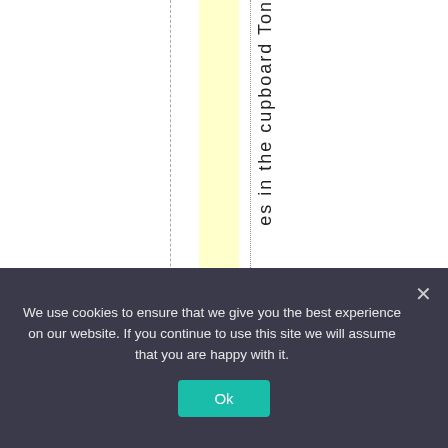[Figure (other): Document table or spreadsheet view with a yellow highlighted column, a dashed vertical line, and a dotted vertical line. Vertical text reading 'es in the cupboard Ton' runs along the right side of the highlighted column.]
We use cookies to ensure that we give you the best experience on our website. If you continue to use this site we will assume that you are happy with it.